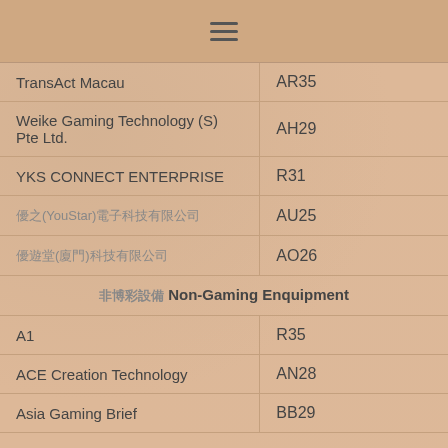≡
| Company | Code |
| --- | --- |
| TransAct Macau | AR35 |
| Weike Gaming Technology (S) Pte Ltd. | AH29 |
| YKS CONNECT ENTERPRISE | R31 |
| 優之星(YouStar)電子科技有限公司 | AU25 |
| 優遊堂(廈門)科技有限公司 | AO26 |
| [CJK] Non-Gaming Enquipment |  |
| A1 | R35 |
| ACE Creation Technology | AN28 |
| Asia Gaming Brief | BB29 |